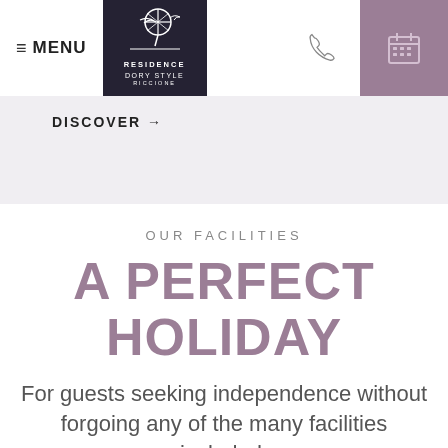[Figure (logo): Residence Dory Style Riccione logo — white line art of a tennis racket and stylized figure on dark navy background, with text RESIDENCE DORY STYLE RICCIONE]
≡ MENU | [phone icon] | [calendar icon]
DISCOVER →
OUR FACILITIES
A PERFECT HOLIDAY
For guests seeking independence without forgoing any of the many facilities included.